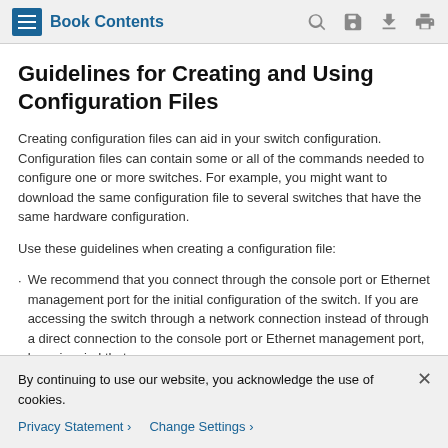Book Contents
Guidelines for Creating and Using Configuration Files
Creating configuration files can aid in your switch configuration. Configuration files can contain some or all of the commands needed to configure one or more switches. For example, you might want to download the same configuration file to several switches that have the same hardware configuration.
Use these guidelines when creating a configuration file:
We recommend that you connect through the console port or Ethernet management port for the initial configuration of the switch. If you are accessing the switch through a network connection instead of through a direct connection to the console port or Ethernet management port, keep in mind that
By continuing to use our website, you acknowledge the use of cookies.
Privacy Statement  Change Settings